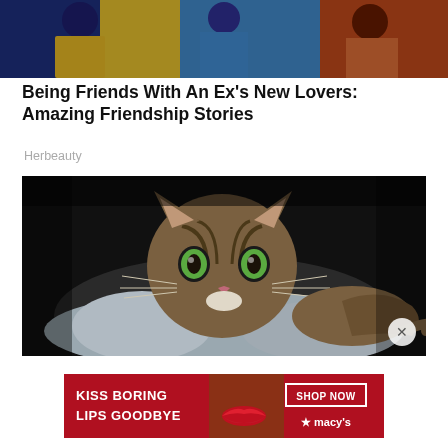[Figure (photo): Photo of people at an event, women in colorful dresses]
Being Friends With An Ex's New Lovers: Amazing Friendship Stories
Herbeauty
[Figure (photo): Close-up photo of a Siamese/Oriental cat with green eyes resting on a grey cushion, dark background]
[Figure (photo): Advertisement banner: KISS BORING LIPS GOODBYE - SHOP NOW - macy's, with woman's face and red lips]